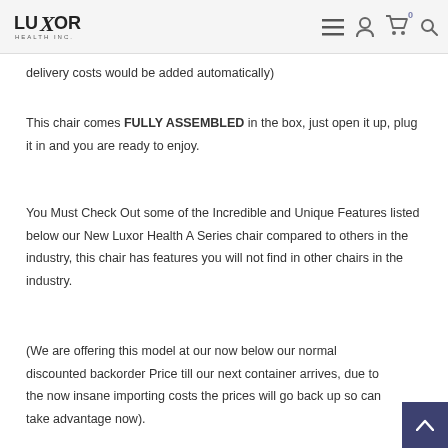LUXOR HEALTH INC. — navigation header
delivery costs would be added automatically)
This chair comes FULLY ASSEMBLED in the box, just open it up, plug it in and you are ready to enjoy.
You Must Check Out some of the Incredible and Unique Features listed below our New Luxor Health A Series chair compared to others in the industry, this chair has features you will not find in other chairs in the industry.
(We are offering this model at our now below our normal discounted backorder Price till our next container arrives, due to the now insane importing costs the prices will go back up so can take advantage now).